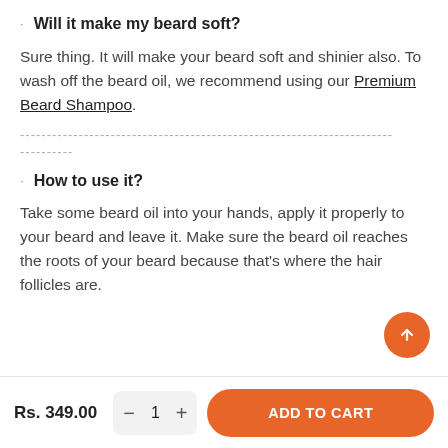Will it make my beard soft?
Sure thing. It will make your beard soft and shinier also. To wash off the beard oil, we recommend using our Premium Beard Shampoo.
----------------------------------------------------------------------  ----------
How to use it?
Take some beard oil into your hands, apply it properly to your beard and leave it. Make sure the beard oil reaches the roots of your beard because that's where the hair follicles are.
Rs. 349.00  -  1  +  ADD TO CART